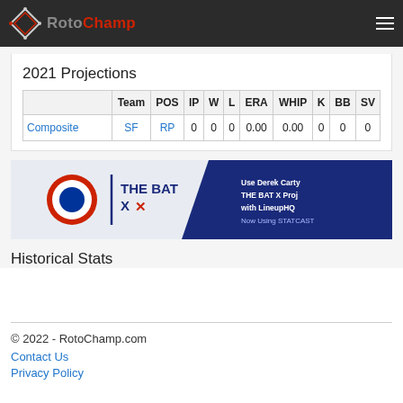RotoChamp
2021 Projections
|  | Team | POS | IP | W | L | ERA | WHIP | K | BB | SV |
| --- | --- | --- | --- | --- | --- | --- | --- | --- | --- | --- |
| Composite | SF | RP | 0 | 0 | 0 | 0.00 | 0.00 | 0 | 0 | 0 |
[Figure (illustration): THE BAT X advertisement banner with text: Use Derek Carty THE BAT X Proj with LineupHQ Now Using STATCAST]
Historical Stats
© 2022 - RotoChamp.com
Contact Us
Privacy Policy